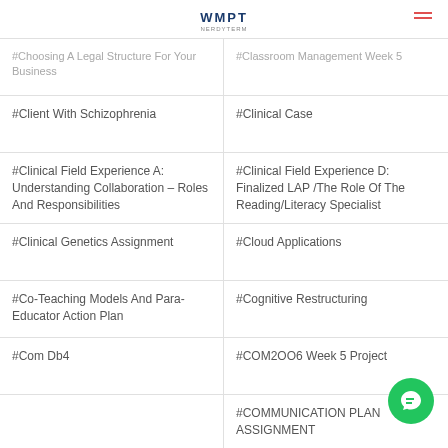WMPT
#Choosing A Legal Structure For Your Business
#Classroom Management Week 5
#Client With Schizophrenia
#Clinical Case
#Clinical Field Experience A: Understanding Collaboration – Roles And Responsibilities
#Clinical Field Experience D: Finalized LAP /The Role Of The Reading/Literacy Specialist
#Clinical Genetics Assignment
#Cloud Applications
#Co-Teaching Models And Para-Educator Action Plan
#Cognitive Restructuring
#Com Db4
#COM2OO6 Week 5 Project
#COMMUNICATION PLAN ASSIGNMENT